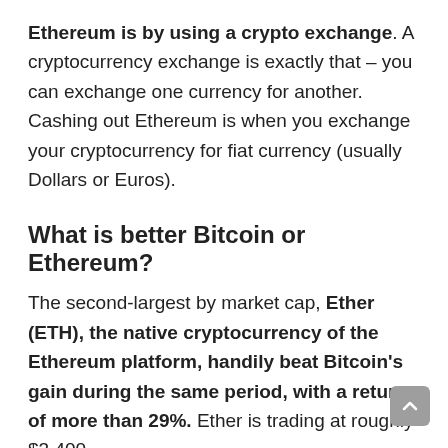Ethereum is by using a crypto exchange. A cryptocurrency exchange is exactly that – you can exchange one currency for another. Cashing out Ethereum is when you exchange your cryptocurrency for fiat currency (usually Dollars or Euros).
What is better Bitcoin or Ethereum?
The second-largest by market cap, Ether (ETH), the native cryptocurrency of the Ethereum platform, handily beat Bitcoin's gain during the same period, with a return of more than 29%. Ether is trading at roughly $3,400.
How do I get free Ethereum?